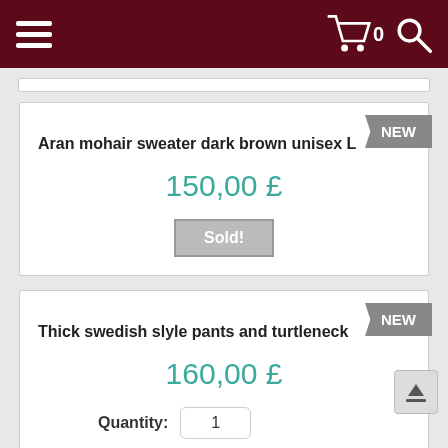[Figure (screenshot): Dark maroon navigation bar with hamburger menu icon on left, shopping cart with count 0 and search icon on right]
Aran mohair sweater dark brown unisex L
150,00 £
Sold!
Thick swedish slyle pants and turtleneck
160,00 £
Quantity: 1